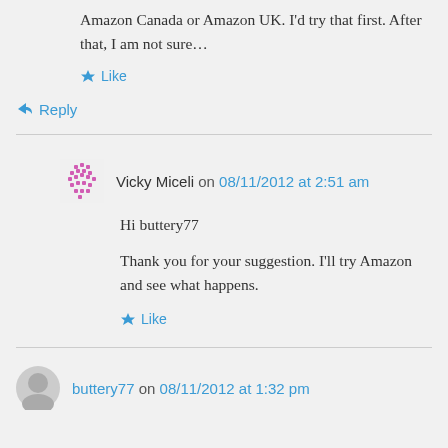Amazon Canada or Amazon UK. I'd try that first. After that, I am not sure…
Like
Reply
Vicky Miceli on 08/11/2012 at 2:51 am
Hi buttery77
Thank you for your suggestion. I'll try Amazon and see what happens.
Like
buttery77 on 08/11/2012 at 1:32 pm